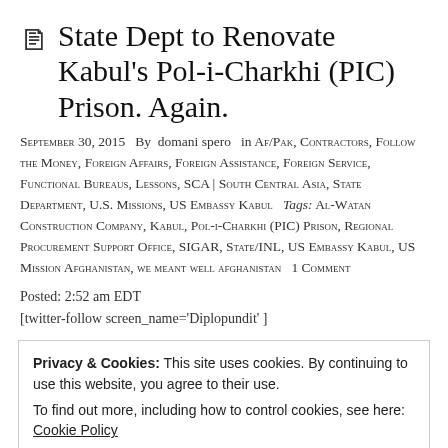State Dept to Renovate Kabul's Pol-i-Charkhi (PIC) Prison. Again.
September 30, 2015  By  domani spero   in Af/Pak, Contractors, Follow the Money, Foreign Affairs, Foreign Assistance, Foreign Service, Functional Bureaus, Lessons, SCA | South Central Asia, State Department, U.S. Missions, US Embassy Kabul   Tags: Al-Watan Construction Company, Kabul, Pol-i-Charkhi (PIC) Prison, Regional Procurement Support Office, SIGAR, State/INL, US Embassy Kabul, US Mission Afghanistan, we meant well afghanistan   1 Comment
Posted: 2:52 am EDT
[twitter-follow screen_name='Diplopundit' ]
Privacy & Cookies: This site uses cookies. By continuing to use this website, you agree to their use.
To find out more, including how to control cookies, see here: Cookie Policy
renovations in Blocks 1, 2 & 3 and extensive infrastructure and satellite